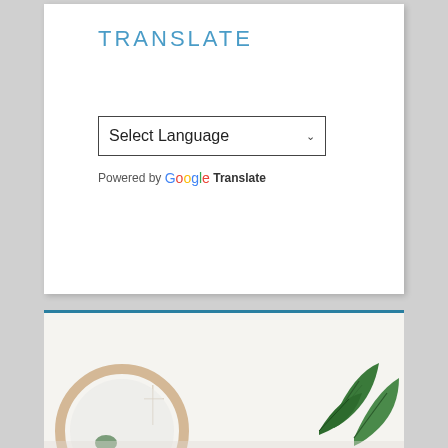TRANSLATE
Select Language
Powered by Google Translate
[Figure (photo): Interior room photo showing a round wooden-framed mirror on the left and large tropical green leaves on the right, against a white wall with minimal decor.]